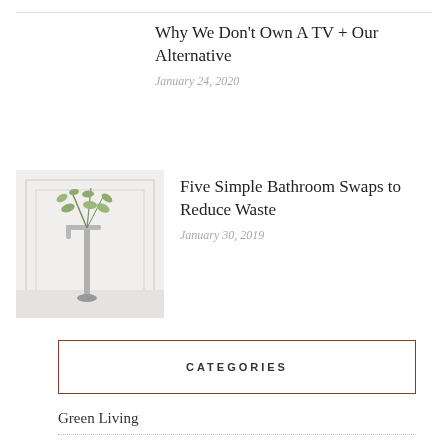Why We Don't Own A TV + Our Alternative
January 24, 2020
[Figure (photo): A freestanding bathtub faucet with eucalyptus branches draped over it, against a white paneled wall background.]
Five Simple Bathroom Swaps to Reduce Waste
January 30, 2019
CATEGORIES
Green Living